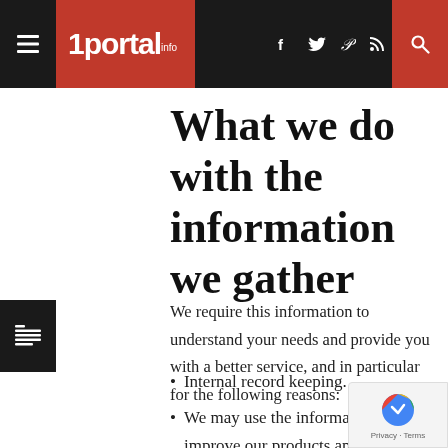1portal.info
What we do with the information we gather
We require this information to understand your needs and provide you with a better service, and in particular for the following reasons:
Internal record keeping.
We may use the information to improve our products and services.
We may use the information to customise the website according to